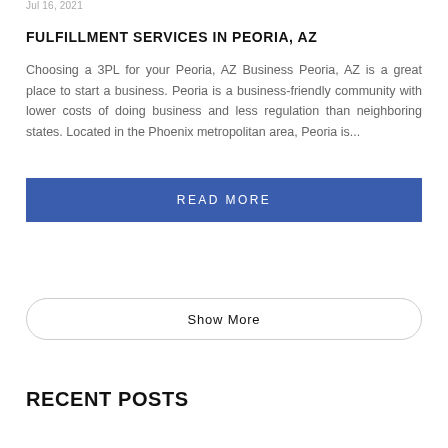Jul 16, 2021
FULFILLMENT SERVICES IN PEORIA, AZ
Choosing a 3PL for your Peoria, AZ Business Peoria, AZ is a great place to start a business. Peoria is a business-friendly community with lower costs of doing business and less regulation than neighboring states. Located in the Phoenix metropolitan area, Peoria is...
READ MORE
Show More
RECENT POSTS